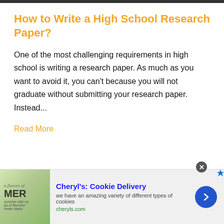How to Write a High School Research Paper?
One of the most challenging requirements in high school is writing a research paper. As much as you want to avoid it, you can't because you will not graduate without submitting your research paper. Instead...
Read More
[Figure (other): Advertisement banner for Cheryl's Cookie Delivery with an image of cookies and text 'we have an amazing variety of different types of cookies' and link cheryls.com]